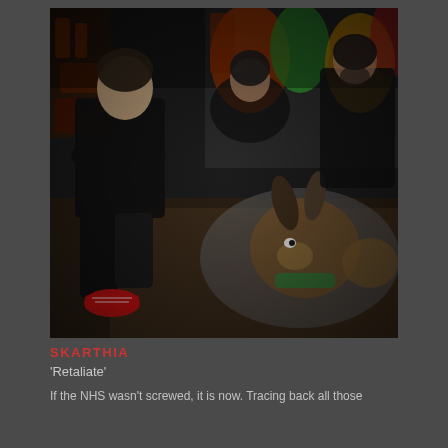[Figure (photo): A group of young men posed in what appears to be an abandoned building with colorful graffiti on the walls. One man in the foreground crouches with arms crossed wearing a black outfit and red sneakers. Others sit in the background against the graffiti-covered wall. A large painted artwork/mural is spread on the dark floor in front of them, appearing to show an animal figure.]
SKARTHIA
'Retaliate'
If the NHS wasn't screwed, it is now. Tracing back all those